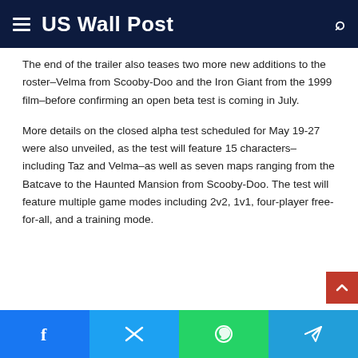US Wall Post
The end of the trailer also teases two more new additions to the roster–Velma from Scooby-Doo and the Iron Giant from the 1999 film–before confirming an open beta test is coming in July.
More details on the closed alpha test scheduled for May 19-27 were also unveiled, as the test will feature 15 characters–including Taz and Velma–as well as seven maps ranging from the Batcave to the Haunted Mansion from Scooby-Doo. The test will feature multiple game modes including 2v2, 1v1, four-player free-for-all, and a training mode.
Facebook | Twitter | WhatsApp | Telegram